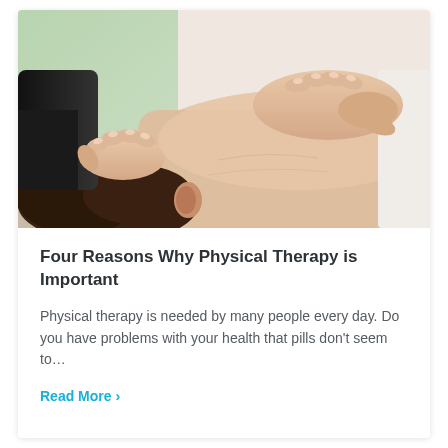[Figure (photo): A physical therapist's hands performing massage therapy on a patient's upper back and neck area. The patient is lying face down with dark hair visible. The background shows a light green and white clinical setting.]
Four Reasons Why Physical Therapy is Important
Physical therapy is needed by many people every day. Do you have problems with your health that pills don't seem to…
Read More  ›